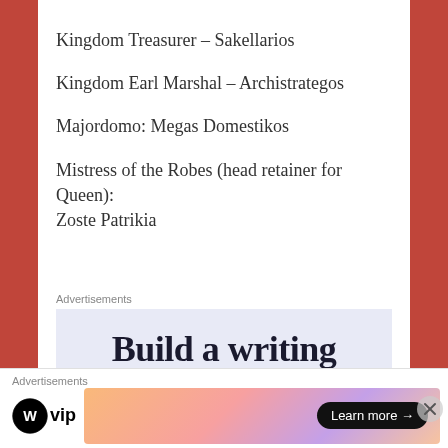Kingdom Treasurer – Sakellarios
Kingdom Earl Marshal – Archistrategos
Majordomo: Megas Domestikos
Mistress of the Robes (head retainer for Queen): Zoste Patrikia
Advertisements
[Figure (screenshot): Advertisement box showing 'Build a writing' text in large serif font on light blue background]
Advertisements — WordPress VIP — Learn more →